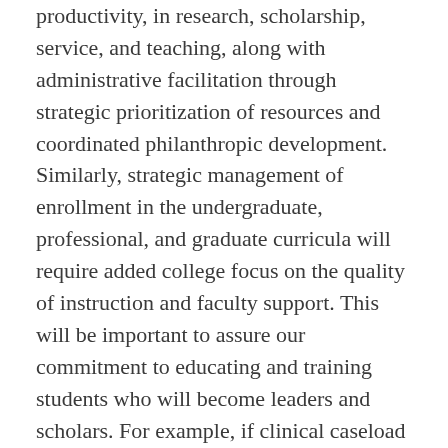productivity, in research, scholarship, service, and teaching, along with administrative facilitation through strategic prioritization of resources and coordinated philanthropic development. Similarly, strategic management of enrollment in the undergraduate, professional, and graduate curricula will require added college focus on the quality of instruction and faculty support. This will be important to assure our commitment to educating and training students who will become leaders and scholars. For example, if clinical caseload and/or practice expectations are raised (potentially in light of expanding technology and resources), we must assure that the college's faculty-to-student and